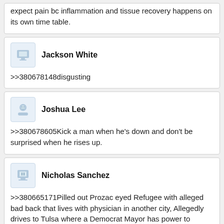expect pain bc inflammation and tissue recovery happens on its own time table.
Jackson White
>>380678148disgusting
Joshua Lee
>>380678605Kick a man when he's down and don't be surprised when he rises up.
Nicholas Sanchez
>>380665171Pilled out Prozac eyed Refugee with alleged bad back that lives with physician in another city, Allegedly drives to Tulsa where a Democrat Mayor has power to supposedly shoot up a Catholic Hospital for muh pain meds. So give up your guns? AmberTurd told better lies.